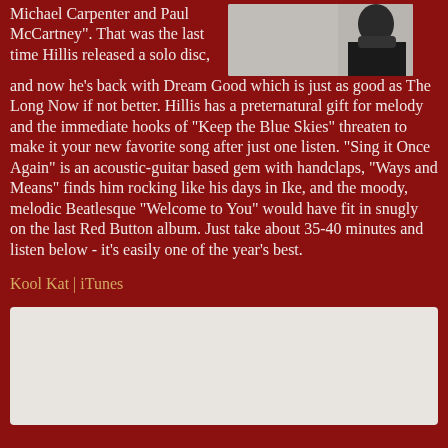Michael Carpenter and Paul McCartney". That was the last time Hillis released a solo disc, and now he's back with Dream Good which is just as good as The Long Now if not better. Hillis has a preternatural gift for melody and the immediate hooks of "Keep the Blue Skies" threaten to make it your new favorite song after just one listen. "Sing it Once Again" is an acoustic-guitar based gem with handclaps, "Ways and Means" finds him rocking like his days in Ike, and the moody, melodic Beatlesque "Welcome to You" would have fit in snugly on the last Red Button album. Just take about 35-40 minutes and listen below - it's easily one of the year's best.
[Figure (photo): Photo of a person, partially visible, dark clothing, light grey background]
Kool Kat | iTunes
[Figure (other): Embedded media player or widget, light grey box]